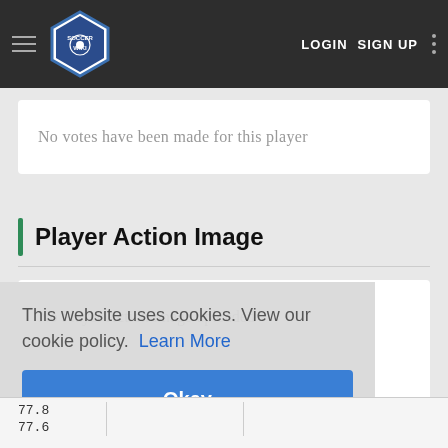Soccer Wiki — LOGIN  SIGN UP
No votes have been made for this player
Player Action Image
No Player Action image uploaded
This website uses cookies. View our cookie policy.  Learn More
Okay
| 77.8 |
| 77.6 |